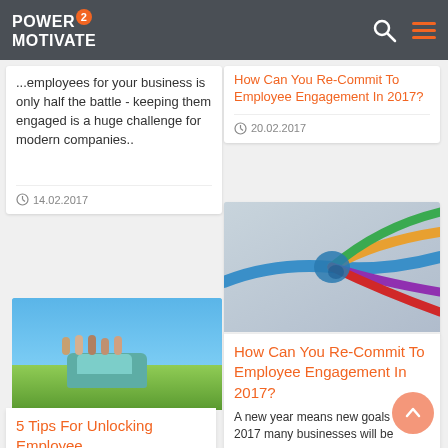POWER 2 MOTIVATE
...employees for your business is only half the battle - keeping them engaged is a huge challenge for modern companies..
14.02.2017
[Figure (photo): Group of young people standing on and around a vintage teal car in a sunny field]
5 Tips For Unlocking Employee
How Can You Re-Commit To Employee Engagement In 2017?
20.02.2017
[Figure (photo): Colorful ropes tied together in a knot against a grey background]
How Can You Re-Commit To Employee Engagement In 2017?
A new year means new goals and in 2017 many businesses will be